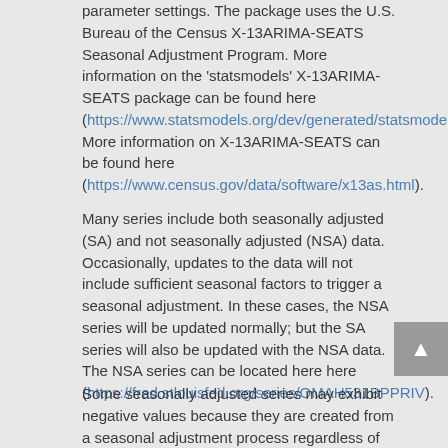parameter settings. The package uses the U.S. Bureau of the Census X-13ARIMA-SEATS Seasonal Adjustment Program. More information on the 'statsmodels' X-13ARIMA-SEATS package can be found here (https://www.statsmodels.org/dev/generated/statsmodels.tsa.x13.x13_arima_analysis.html). More information on X-13ARIMA-SEATS can be found here (https://www.census.gov/data/software/x13as.html).
Many series include both seasonally adjusted (SA) and not seasonally adjusted (NSA) data. Occasionally, updates to the data will not include sufficient seasonal factors to trigger a seasonal adjustment. In these cases, the NSA series will be updated normally; but the SA series will also be updated with the NSA data. The NSA series can be located here here (https://fred.stlouisfed.org/series/OMAH531BPPRIV).
Some seasonally adjusted series may exhibit negative values because they are created from a seasonal adjustment process regardless of the actual meaning or interpretation of the given indicator.